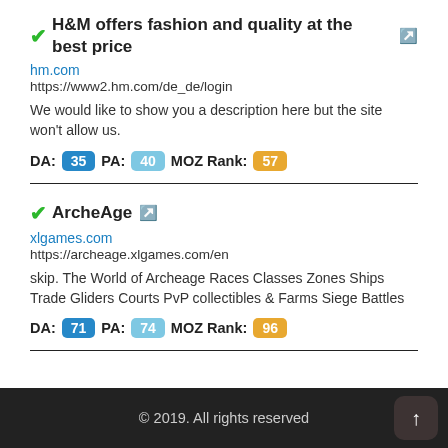H&M offers fashion and quality at the best price
hm.com
https://www2.hm.com/de_de/login
We would like to show you a description here but the site won't allow us.
DA: 35 PA: 40 MOZ Rank: 57
ArcheAge
xlgames.com
https://archeage.xlgames.com/en
skip. The World of Archeage Races Classes Zones Ships Trade Gliders Courts PvP collectibles & Farms Siege Battles
DA: 71 PA: 74 MOZ Rank: 96
© 2019. All rights reserved